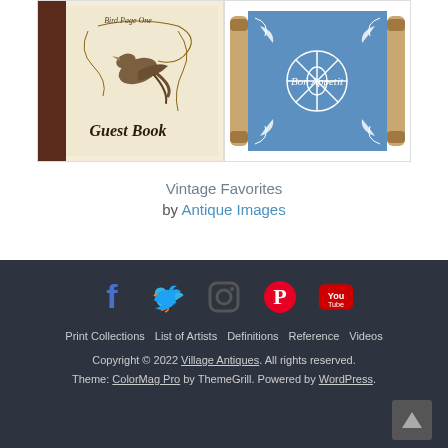[Figure (photo): Two product images side by side: a vintage Guest Book with bird illustration on cream cover with dark brown spine, and a blue decorative serving tray with white floral/snowflake pattern and 'Bon Appetit' text]
Vintage Favorites
by Antique Images
Print Collections  List of Artists  Definitions  Reference  Videos
Copyright © 2022 Village Antiques. All rights reserved.
Theme: ColorMag Pro by ThemeGrill. Powered by WordPress.